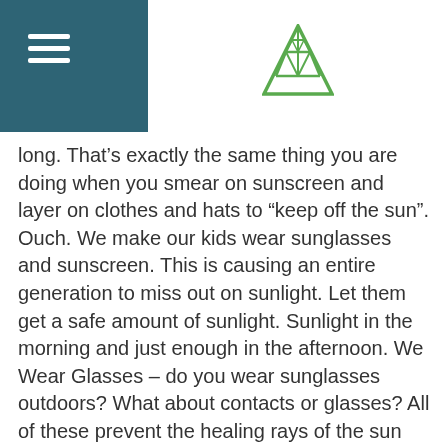[Figure (logo): Green triangular tree/mountain logo with geometric line pattern inside]
long. That’s exactly the same thing you are doing when you smear on sunscreen and layer on clothes and hats to “keep off the sun”. Ouch. We make our kids wear sunglasses and sunscreen. This is causing an entire generation to miss out on sunlight. Let them get a safe amount of sunlight. Sunlight in the morning and just enough in the afternoon. We Wear Glasses – do you wear sunglasses outdoors? What about contacts or glasses? All of these prevent the healing rays of the sun from entering your eyes! I’m not saying to stare into the sun at mid day and go blind. Ok, I’ll admit to staring directly at the sun at sunrise and sunset. Don’t do this at home little Jimmy. Wink wink. There are many cultures who used sun